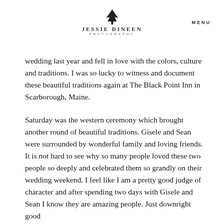JESSIE DINEEN PHOTOGRAPHY  MENU
wedding last year and fell in love with the colors, culture and traditions. I was so lucky to witness and document these beautiful traditions again at The Black Point Inn in Scarborough, Maine.
Saturday was the western ceremony which brought another round of beautiful traditions. Gisele and Sean were surrounded by wonderful family and loving friends. It is not hard to see why so many people loved these two people so deeply and celebrated them so grandly on their wedding weekend. I feel like I am a pretty good judge of character and after spending two days with Gisele and Sean I know they are amazing people. Just downright good